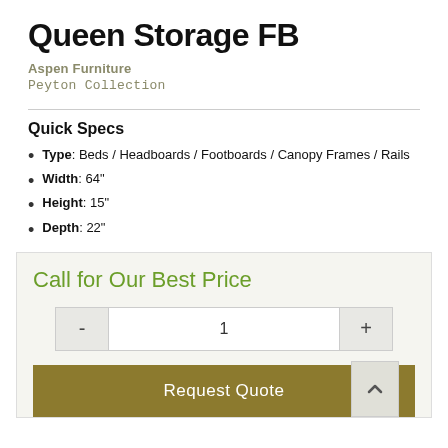Queen Storage FB
Aspen Furniture
Peyton Collection
Quick Specs
Type: Beds / Headboards / Footboards / Canopy Frames / Rails
Width: 64"
Height: 15"
Depth: 22"
Call for Our Best Price
- 1 +
Request Quote